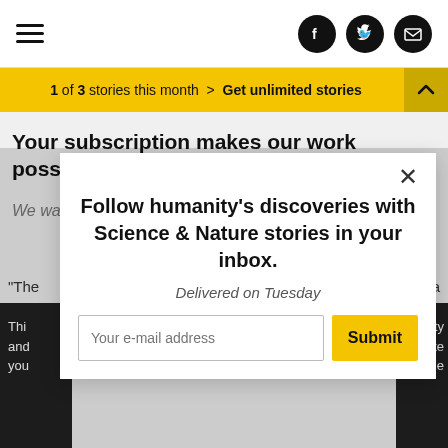≡  [facebook] [twitter] [email]
1 of 3 stories this month > Get unlimited stories
Your subscription makes our work possible.
We want to bridge divides to reach everyone.
Follow humanity's discoveries with Science & Nature stories in your inbox.
Delivered on Tuesday
"The ... is a
Thi... ality and... site you... e